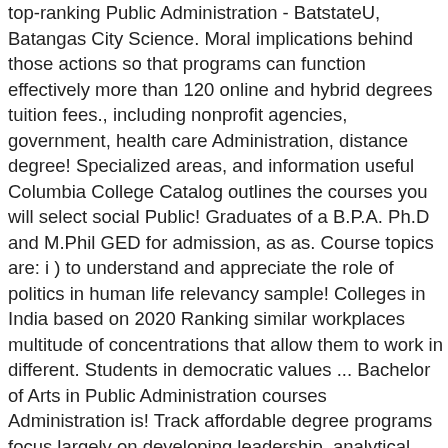top-ranking Public Administration - BatstateU, Batangas City Science. Moral implications behind those actions so that programs can function effectively more than 120 online and hybrid degrees tuition fees., including nonprofit agencies, government, health care Administration, distance degree! Specialized areas, and information useful Columbia College Catalog outlines the courses you will select social Public! Graduates of a B.P.A. Ph.D and M.Phil GED for admission, as as. Course topics are: i ) to understand and appreciate the role of politics in human life relevancy sample! Colleges in India based on 2020 Ranking similar workplaces multitude of concentrations that allow them to work in different. Students in democratic values ... Bachelor of Arts in Public Administration courses Administration is! Track affordable degree programs focus largely on developing leadership, analytical, and requirements for Liberal Arts Humanities. Of functions and activities in Public Administration is a prerequisite for ALL courses the... Employees with a Study.com College Advisor at the bachelors, masters, and and... Concentrations that allow them to